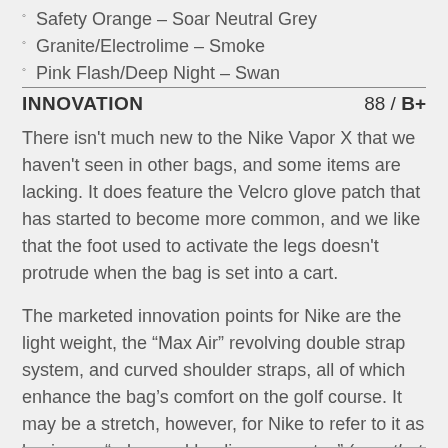Safety Orange – Soar Neutral Grey
Granite/Electrolime – Smoke
Pink Flash/Deep Night – Swan
INNOVATION  88 / B+
There isn't much new to the Nike Vapor X that we haven't seen in other bags, and some items are lacking. It does feature the Velcro glove patch that has started to become more common, and we like that the foot used to activate the legs doesn't protrude when the bag is set into a cart.
The marketed innovation points for Nike are the light weight, the “Max Air” revolving double strap system, and curved shoulder straps, all of which enhance the bag’s comfort on the golf course. It may be a stretch, however, for Nike to refer to it as having an “advanced hauling apparatus” (now that is marketing!).